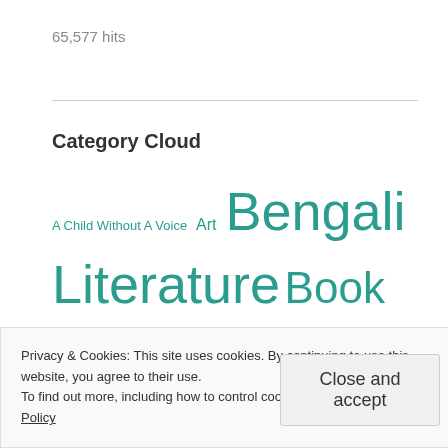65,577 hits
Category Cloud
A Child Without A Voice  Art  Bengali Literature  Book Reviews  Fiction  Films  General  Guest Blogs  Hindi  Humour  Immigrant's Postcard  Issues Etc  Know the Writer  Letters
Privacy & Cookies: This site uses cookies. By continuing to use this website, you agree to their use.
To find out more, including how to control cookies, see here: Cookie Policy
Close and accept